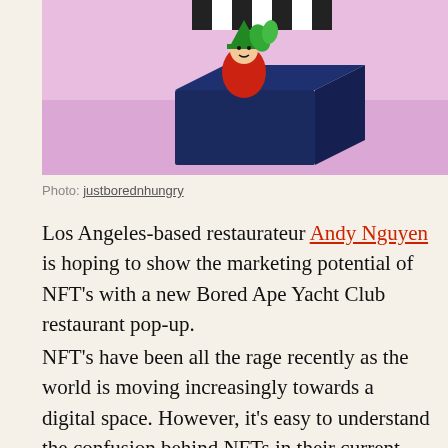[Figure (photo): A dark navy blue burger box/package with a colorful illustrated character on top, set against a pink/mauve background. Striped black and white element visible at top.]
Photo: justborednhungry
Los Angeles-based restaurateur Andy Nguyen is hoping to show the marketing potential of NFT’s with a new Bored Ape Yacht Club restaurant pop-up.
NFT’s have been all the rage recently as the world is moving increasingly towards a digital space. However, it’s easy to understand the confusion behind NFTs in their current form. We spend a good chunk of our day on social media scrolling past jpegs, so the idea of owning a digital picture exclusively doesn’t sound appealing on